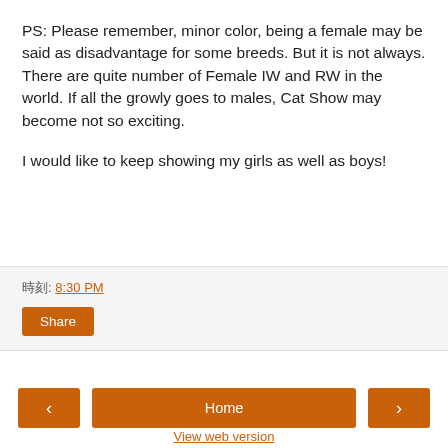PS: Please remember, minor color, being a female may be said as disadvantage for some breeds. But it is not always. There are quite number of Female IW and RW in the world. If all the growly goes to males, Cat Show may become not so exciting.
I would like to keep showing my girls as well as boys!
時刻: 8:30 PM
Share
‹   Home   ›   View web version